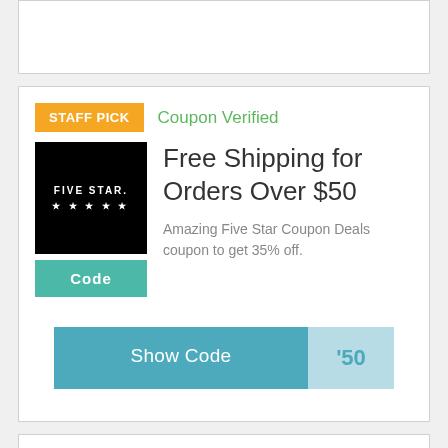[Figure (other): Partial top card with white background, partially visible]
STAFF PICK
Coupon Verified
[Figure (logo): Five Star black logo square with stars]
Code
Free Shipping for Orders Over $50
Amazing Five Star Coupon Deals coupon to get 35% off.
Show Code
'50
STAFF PICK
Coupon Verified
[Figure (logo): Five Star black logo square with stars]
20% Off Sitewide
Deep discounted price for